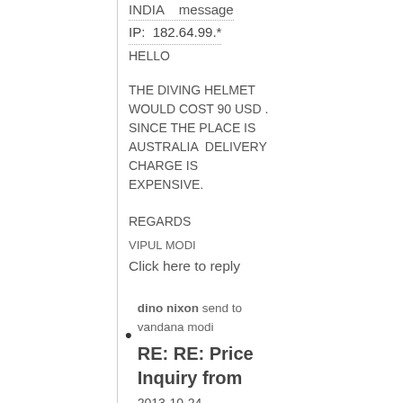INDIA    message
IP:  182.64.99.*
HELLO
THE DIVING HELMET WOULD COST 90 USD . SINCE THE PLACE IS AUSTRALIA  DELIVERY CHARGE IS EXPENSIVE.
REGARDS
VIPUL MODI
Click here to reply
dino nixon send to vandana modi
RE: RE: Price Inquiry from
2013-10-24